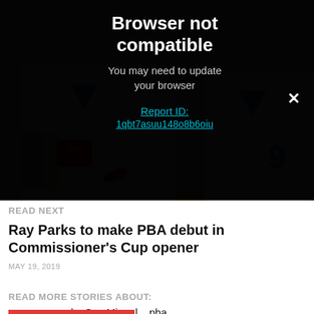[Figure (photo): Two basketball players in white and blue uniforms; one wearing jersey number 9, with spin.ph watermark and Ginebra patch visible. ABL logo on left player's jersey.]
Browser not compatible
You may need to update your browser
Report ID:
1qbt7asuu148o8b6oiu
READ NEXT
Ray Parks to make PBA debut in Commissioner's Cup opener
MAY 19, 2019
READ MORE STORIES ABOUT:
von pessumal ,  San Miguel ,  pba